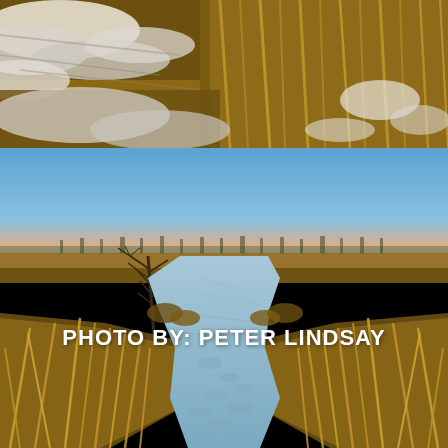[Figure (photo): Top photo: close-up of rocky, snowy terrain with dry golden-brown grass and patches of snow on rocks and earth]
[Figure (photo): Bottom photo: wide winter landscape showing a frozen or icy creek/marsh winding through dry golden prairie grass under a clear blue sky with a warm pink horizon glow. A bare tree leans to the left. Text overlay reads 'PHOTO BY: PETER LINDSAY'.]
PHOTO BY: PETER LINDSAY